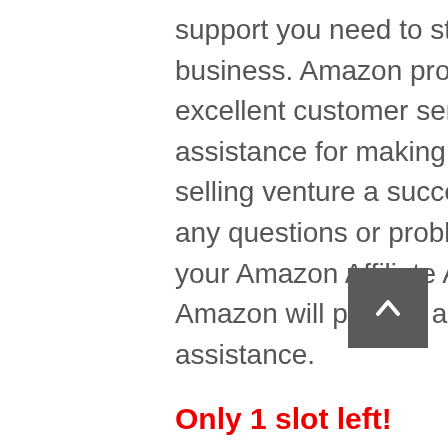support you need to start your Amazon business. Amazon provides you with excellent customer service and assistance for making your product selling venture a success. If you have any questions or problem regarding your Amazon Affiliate Account, then Amazon will provide all the necessary assistance.
Only 1 slot left!